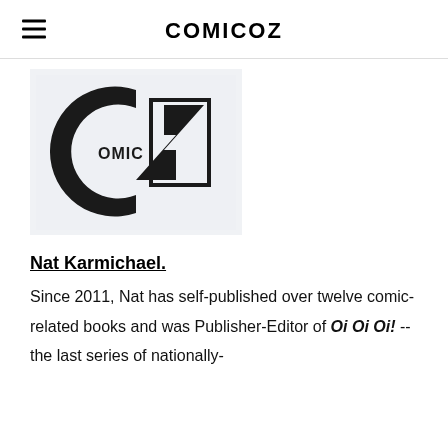COMICOZ
[Figure (logo): Comicoz logo: large stylized letter C with 'OMICZ' text inside forming the word COMICZ]
Nat Karmichael. Since 2011, Nat has self-published over twelve comic-related books and was Publisher-Editor of Oi Oi Oi! -- the last series of nationally-